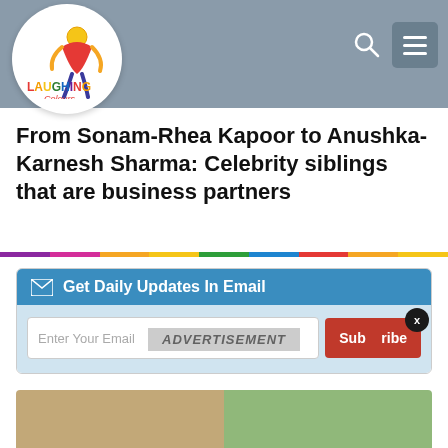[Figure (logo): Laughing Colours logo: colorful figure with rainbow text on white circle, inside a grey header bar]
From Sonam-Rhea Kapoor to Anushka-Karnesh Sharma: Celebrity siblings that are business partners
Get Daily Updates In Email
Enter Your Email
ADVERTISEMENT
Subscribe
[Figure (photo): Two celebrity photos side by side at bottom of page, showing celebrity siblings]